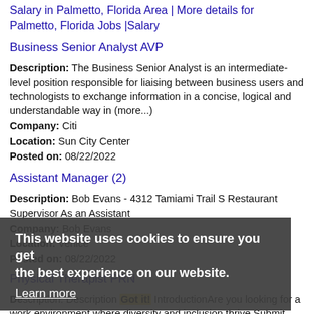Salary in Palmetto, Florida Area | More details for Palmetto, Florida Jobs |Salary
Business Senior Analyst AVP
Description: The Business Senior Analyst is an intermediate-level position responsible for liaising between business users and technologists to exchange information in a concise, logical and understandable way in (more...)
Company: Citi
Location: Sun City Center
Posted on: 08/22/2022
Assistant Manager (2)
Description: Bob Evans - 4312 Tamiami Trail S Restaurant Supervisor As an Assistant
Company: Bob Evans
Location: Venice
Posted on: 08/22/2022
Physical Therapist PRN
Description: Description Got it! IntroductionAre you looking for a work environment where diversity and inclusion thrive Submit your application for our Physical Therapist PRN opening with HCA Florida Englewood Hospital (more...)
This website uses cookies to ensure you get the best experience on our website.
Learn more